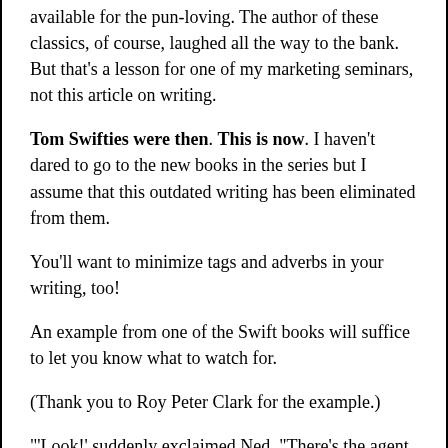available for the pun-loving. The author of these classics, of course, laughed all the way to the bank. But that's a lesson for one of my marketing seminars, not this article on writing.
Tom Swifties were then. This is now. I haven't dared to go to the new books in the series but I assume that this outdated writing has been eliminated from them.
You'll want to minimize tags and adverbs in your writing, too!
An example from one of the Swift books will suffice to let you know what to watch for.
(Thank you to Roy Peter Clark for the example.)
"'Look!' suddenly exclaimed Ned. "There's the agent now! I'm going to speak to him!" impulsively declared Ned.'
Even authors who swear that adverbs are always very, very good things to use and are reluctant to give up their